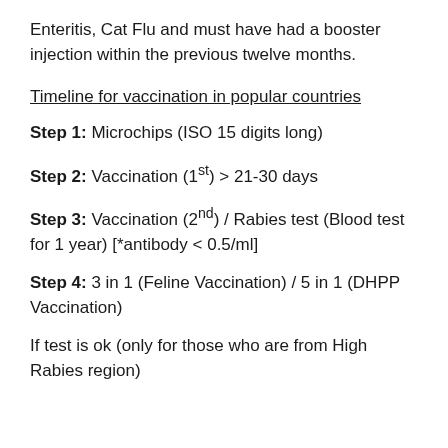Enteritis, Cat Flu and must have had a booster injection within the previous twelve months.
Timeline for vaccination in popular countries
Step 1: Microchips (ISO 15 digits long)
Step 2: Vaccination (1st) > 21-30 days
Step 3: Vaccination (2nd) / Rabies test (Blood test for 1 year) [*antibody < 0.5/ml]
Step 4: 3 in 1 (Feline Vaccination) / 5 in 1 (DHPP Vaccination)
If test is ok (only for those who are from High Rabies region)